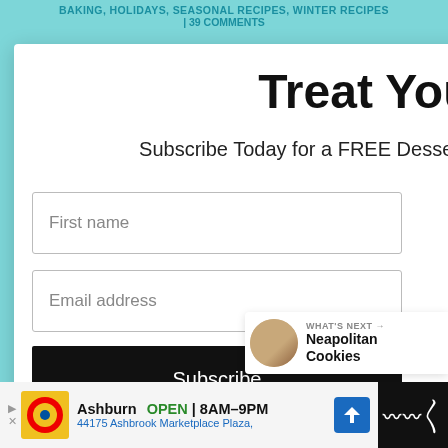BAKING, HOLIDAYS, SEASONAL RECIPES, WINTER RECIPES | 39 COMMENTS
Treat Yourself!
Subscribe Today for a FREE Dessert Ebook and weekly recipes!
First name
Email address
Subscribe
3.5K
WHAT'S NEXT → Neapolitan Cookies
Ashburn  OPEN | 8AM–9PM  44175 Ashbrook Marketplace Plaza,